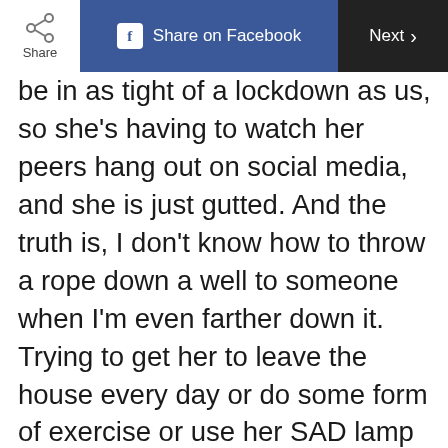Share | Share on Facebook | Next >
be in as tight of a lockdown as us, so she’s having to watch her peers hang out on social media, and she is just gutted. And the truth is, I don’t know how to throw a rope down a well to someone when I’m even farther down it. Trying to get her to leave the house every day or do some form of exercise or use her SAD lamp or do just one page of the cognitive behavioural therapy workbook I got her — these are all constant battles, and I just don’t have the energy to keep trying to convince her that she has to fight it. Some nights, we just lie on the couch and watch Grey’s Anatomy and eat ice cream